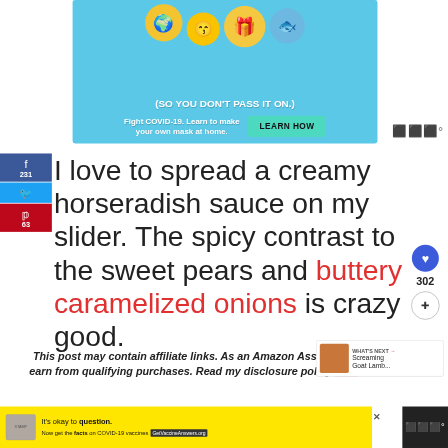[Figure (screenshot): COVID-19 public health advertisement banner with emoji graphics and text: '(SO YOU DON'T PASS IT ON.)' and 'Fight COVID-19. Learn to make your own mask at home.' with a LEARN HOW button]
I love to spread a creamy horseradish sauce on my slider. The spicy contrast to the sweet pears and buttery caramelized onions is crazy good.
This post may contain affiliate links. As an Amazon Associate, I earn from qualifying purchases. Read my disclosure policy here.
[Figure (screenshot): Bottom advertisement: 'It’s okay to question. Now get the facts on COVID-19 vaccines GetVaccineAnswers.org']
[Figure (screenshot): WHAT'S NEXT widget: Screaming Goat Lamb...]
[Figure (screenshot): Social share sidebar with Facebook (231), Twitter, Pinterest (63) buttons and heart (302) action button]